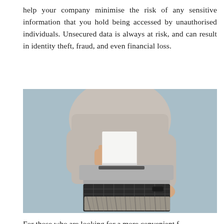help your company minimise the risk of any sensitive information that you hold being accessed by unauthorised individuals. Unsecured data is always at risk, and can result in identity theft, fraud, and even financial loss.
[Figure (photo): A person in a grey knitted sweater feeding a white sheet of paper into a paper shredder. The shredder basket below is filled with shredded paper. Background is light blue.]
For those who are looking for a more convenient f